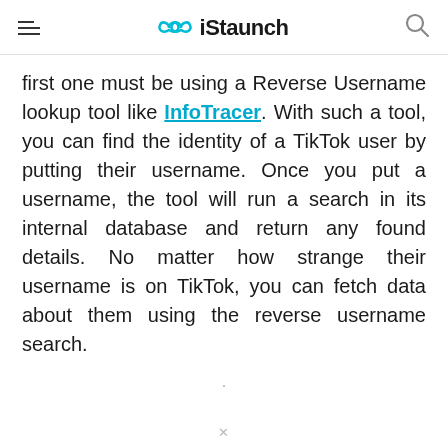iStaunch
first one must be using a Reverse Username lookup tool like InfoTracer. With such a tool, you can find the identity of a TikTok user by putting their username. Once you put a username, the tool will run a search in its internal database and return any found details. No matter how strange their username is on TikTok, you can fetch data about them using the reverse username search.